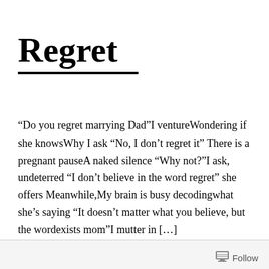Regret
“Do you regret marrying Dad”I ventureWondering if she knowsWhy I ask “No, I don’t regret it” There is a pregnant pauseA naked silence “Why not?”I ask, undeterred “I don’t believe in the word regret” she offers Meanwhile,My brain is busy decodingwhat she’s saying “It doesn’t matter what you believe, but the wordexists mom”I mutter in […]
Follow